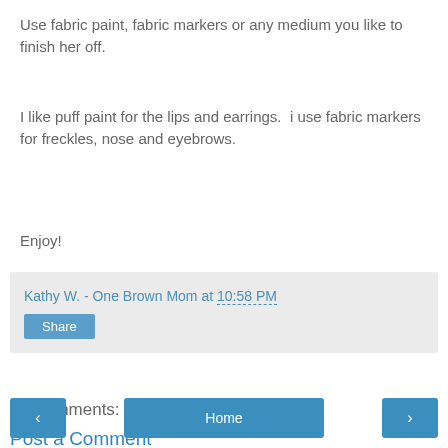Use fabric paint, fabric markers or any medium you like to finish her off.
I like puff paint for the lips and earrings.  i use fabric markers for freckles, nose and eyebrows.
Enjoy!
Kathy W. - One Brown Mom at 10:58 PM
Share
No comments:
Post a Comment
‹  Home  ›